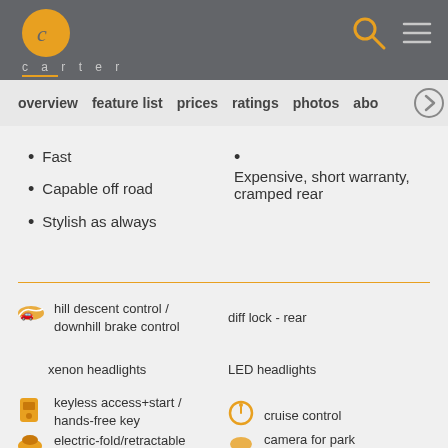carter
overview  feature list  prices  ratings  photos  abo
Fast
Capable off road
Stylish as always
Expensive, short warranty, cramped rear
hill descent control / downhill brake control
diff lock - rear
xenon headlights
LED headlights
keyless access+start / hands-free key
cruise control
electric-fold/retractable
camera for park